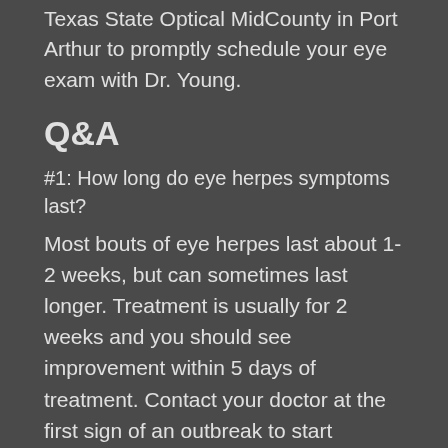Texas State Optical MidCounty in Port Arthur to promptly schedule your eye exam with Dr. Young.
Q&A
#1: How long do eye herpes symptoms last?
Most bouts of eye herpes last about 1-2 weeks, but can sometimes last longer. Treatment is usually for 2 weeks and you should see improvement within 5 days of treatment. Contact your doctor at the first sign of an outbreak to start treatment as soon as possible and minimize the risk of eye damage.
#2: How often do flare-ups recur?
20% of people who've had eye herpes will have